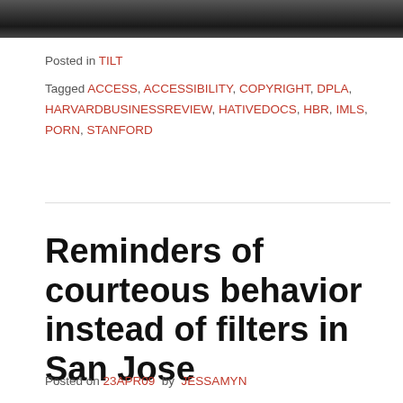[Figure (photo): Black and white photo strip at the top of the page]
Posted in TILT
Tagged ACCESS, ACCESSIBILITY, COPYRIGHT, DPLA, HARVARDBUSINESSREVIEW, HATIVEDOCS, HBR, IMLS, PORN, STANFORD
Reminders of courteous behavior instead of filters in San Jose
Posted on 23APR09  by  JESSAMYN